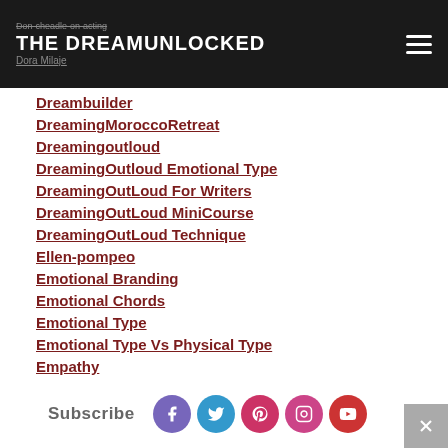THE DREAMUNLOCKED
Dreambuilder
DreamingMoroccoRetreat
Dreamingoutloud
DreamingOutloud Emotional Type
DreamingOutLoud For Writers
DreamingOutLoud MiniCourse
DreamingOutLoud Technique
Ellen-pompeo
Emotional Branding
Emotional Chords
Emotional Type
Emotional Type Vs Physical Type
Empathy
Epa
Subscribe